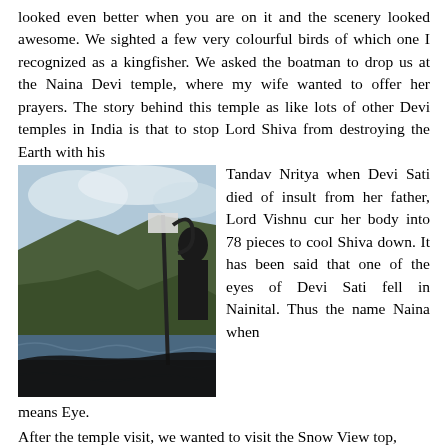looked even better when you are on it and the scenery looked awesome. We sighted a few very colourful birds of which one I recognized as a kingfisher. We asked the boatman to drop us at the Naina Devi temple, where my wife wanted to offer her prayers. The story behind this temple as like lots of other Devi temples in India is that to stop Lord Shiva from destroying the Earth with his Tandav Nritya when Devi Sati died of insult from her father, Lord Vishnu cur her body into 78 pieces to cool Shiva down. It has been said that one of the eyes of Devi Sati fell in Nainital. Thus the name Naina when means Eye.
After the temple visit, we wanted to visit the Snow View top, which can be reached, via the ropeway. We found that all the tickets for the day were booked and only next days tickets were available; therefore, we decided to buy the next day's ticket for a
[Figure (photo): A photo taken from a boat on a lake, showing rough water in the foreground, a steep forested hillside in the background, and part of the boat including a figure holding an oar or pole visible on the right side.]